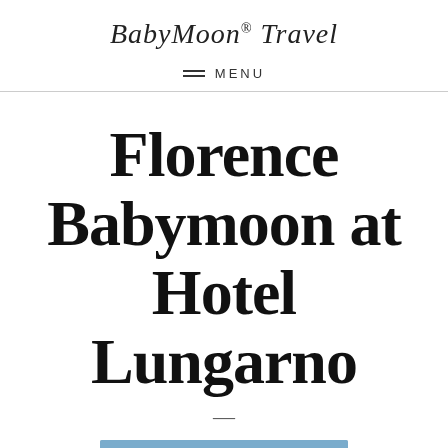BabyMoon® Travel
MENU
Florence Babymoon at Hotel Lungarno
[Figure (photo): Exterior view of Hotel Lungarno in Florence, showing a riverside building with historic architecture under a blue sky]